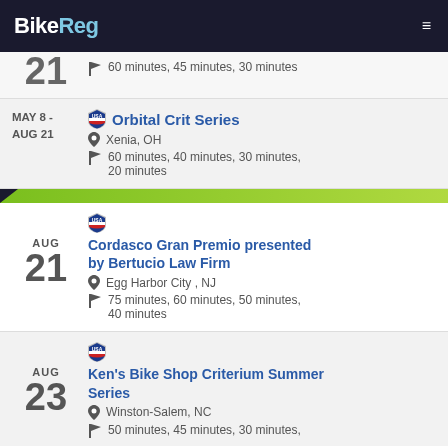BikeReg
AUG 21 — 60 minutes, 45 minutes, 30 minutes
MAY 8 - AUG 21 — Orbital Crit Series — Xenia, OH — 60 minutes, 40 minutes, 30 minutes, 20 minutes
AUG 21 — Cordasco Gran Premio presented by Bertucio Law Firm — Egg Harbor City, NJ — 75 minutes, 60 minutes, 50 minutes, 40 minutes
AUG 23 — Ken's Bike Shop Criterium Summer Series — Winston-Salem, NC — 50 minutes, 45 minutes, 30 minutes